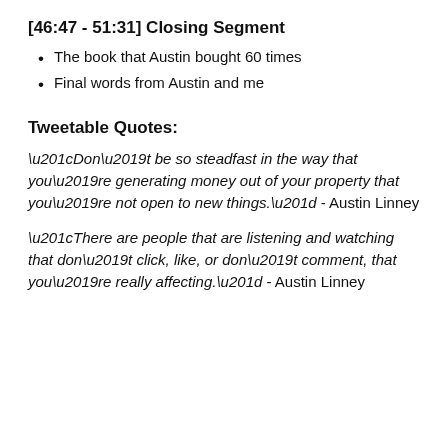[46:47 - 51:31] Closing Segment
The book that Austin bought 60 times
Final words from Austin and me
Tweetable Quotes:
“Don’t be so steadfast in the way that you’re generating money out of your property that you’re not open to new things.” - Austin Linney
“There are people that are listening and watching that don’t click, like, or don’t comment, that you’re really affecting.” - Austin Linney